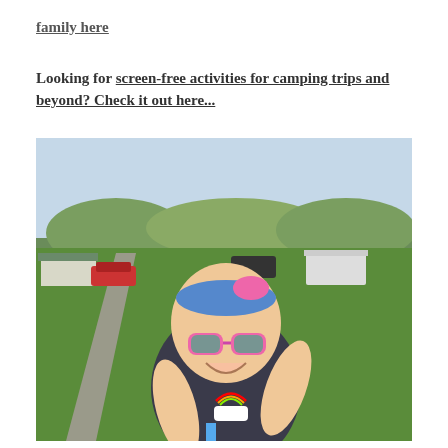family here
Looking for screen-free activities for camping trips and beyond? Check it out here...
[Figure (photo): A young girl wearing pink sunglasses and a colorful headband, smiling at a campsite with green grass, a road, caravans and trees in the background.]